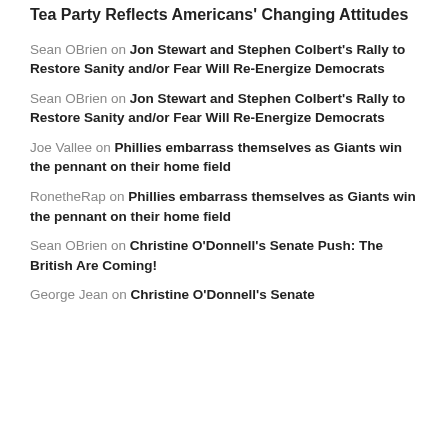Tea Party Reflects Americans' Changing Attitudes
Sean OBrien on Jon Stewart and Stephen Colbert's Rally to Restore Sanity and/or Fear Will Re-Energize Democrats
Sean OBrien on Jon Stewart and Stephen Colbert's Rally to Restore Sanity and/or Fear Will Re-Energize Democrats
Joe Vallee on Phillies embarrass themselves as Giants win the pennant on their home field
RonetheRap on Phillies embarrass themselves as Giants win the pennant on their home field
Sean OBrien on Christine O'Donnell's Senate Push: The British Are Coming!
George Jean on Christine O'Donnell's Senate...